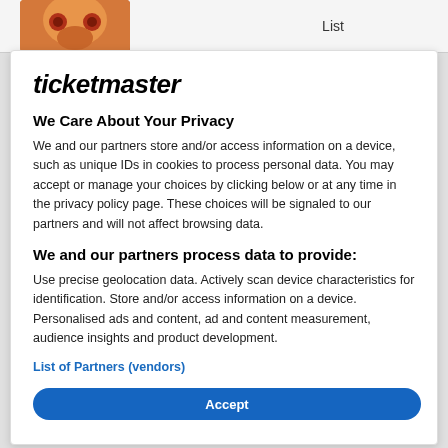[Figure (photo): Partial view of a decorative orange/brown skull figurine on the left side of the top bar]
List
ticketmaster
We Care About Your Privacy
We and our partners store and/or access information on a device, such as unique IDs in cookies to process personal data. You may accept or manage your choices by clicking below or at any time in the privacy policy page. These choices will be signaled to our partners and will not affect browsing data.
We and our partners process data to provide:
Use precise geolocation data. Actively scan device characteristics for identification. Store and/or access information on a device. Personalised ads and content, ad and content measurement, audience insights and product development.
List of Partners (vendors)